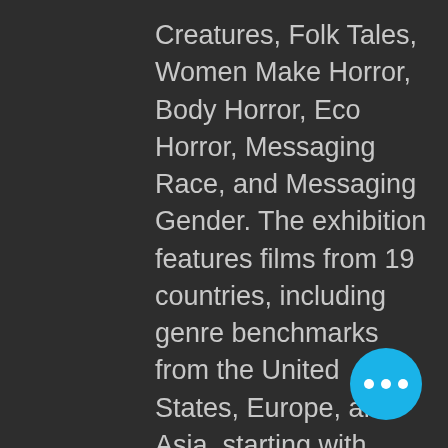Creatures, Folk Tales, Women Make Horror, Body Horror, Eco Horror, Messaging Race, and Messaging Gender. The exhibition features films from 19 countries, including genre benchmarks from the United States, Europe, and Asia, starting with Alfred Hitchcock's Psycho (1960) and spanning the 1970s into the 1990s; 21st-century films from emerging voices in Guatemala, Ireland, Iran, Laos, Mexico, South Africa, South Korea, and Zambia; and a focused look at emerging independent women filmmakers making horror over the last decade.
"Horror: Messaging the Monstrous" organized by Ron Magliozzi, Curator,
[Figure (other): Floating action button (FAB) — a cyan/blue circle with three white dots (ellipsis menu icon) in the bottom-right corner of the screen.]